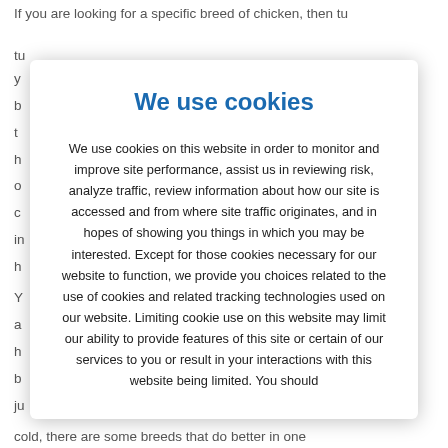If you are looking for a specific breed of chicken, then turning to an online breeder or hatchery might be y... b... t... h... o... c... r in... h...
We use cookies
We use cookies on this website in order to monitor and improve site performance, assist us in reviewing risk, analyze traffic, review information about how our site is accessed and from where site traffic originates, and in hopes of showing you things in which you may be interested. Except for those cookies necessary for our website to function, we provide you choices related to the use of cookies and related tracking technologies used on our website. Limiting cookie use on this website may limit our ability to provide features of this site or certain of our services to you or result in your interactions with this website being limited. You should
cold, there are some breeds that do better in one